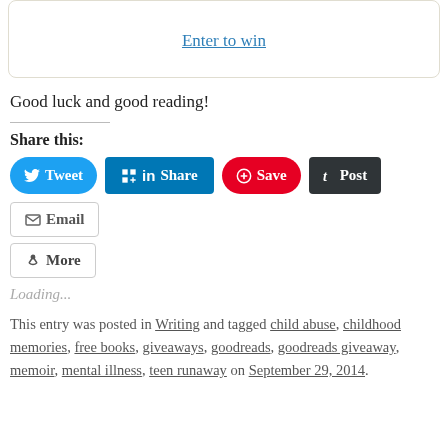[Figure (other): Partial book cover image in top-left of rounded box]
Enter to win
Good luck and good reading!
Share this:
[Figure (infographic): Social share buttons: Tweet, Share, Save, Post, Email, More]
Loading...
This entry was posted in Writing and tagged child abuse, childhood memories, free books, giveaways, goodreads, goodreads giveaway, memoir, mental illness, teen runaway on September 29, 2014.